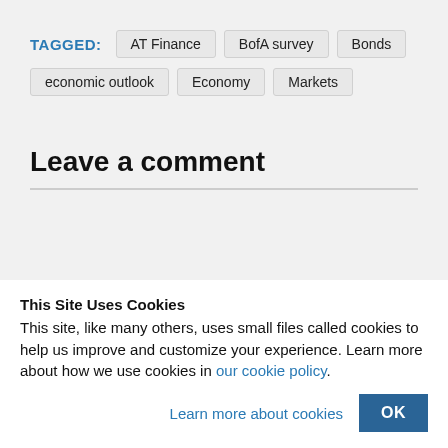TAGGED: AT Finance  BofA survey  Bonds  economic outlook  Economy  Markets
Leave a comment
This Site Uses Cookies
This site, like many others, uses small files called cookies to help us improve and customize your experience. Learn more about how we use cookies in our cookie policy.
Learn more about cookies   OK